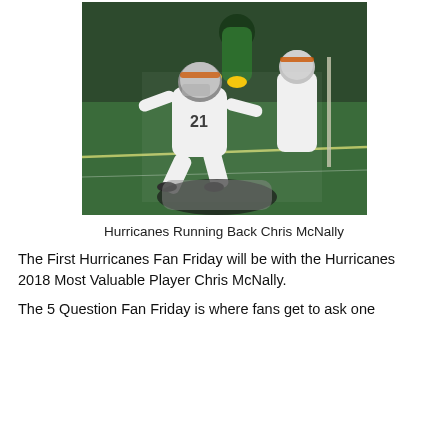[Figure (photo): Action photo of a football player in white uniform with number 21 making a play during a night game on green turf, with other players around him. A player in yellow shoes is visible in the background.]
Hurricanes Running Back Chris McNally
The First Hurricanes Fan Friday will be with the Hurricanes 2018 Most Valuable Player Chris McNally.
The 5 Question Fan Friday is where fans get to ask one